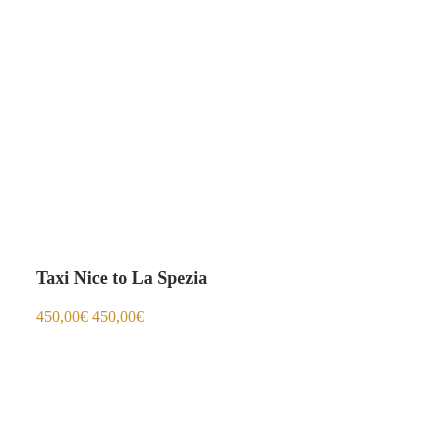Taxi Nice to La Spezia
450,00€ 450,00€